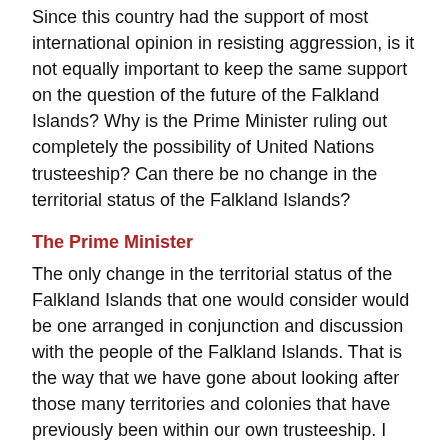Since this country had the support of most international opinion in resisting aggression, is it not equally important to keep the same support on the question of the future of the Falkland Islands? Why is the Prime Minister ruling out completely the possibility of United Nations trusteeship? Can there be no change in the territorial status of the Falkland Islands?
The Prime Minister
The only change in the territorial status of the Falkland Islands that one would consider would be one arranged in conjunction and discussion with the people of the Falkland Islands. That is the way that we have gone about looking after those many territories and colonies that have previously been within our own trusteeship. I believe that that is the way that we should continue to act.
Mr. Robin Maxwell-Hyslop (Tiverton)
Will full provision be made from public funds for those who have lost their homes, their stock-in-trade and their personal possessions in the conflict in a more full and